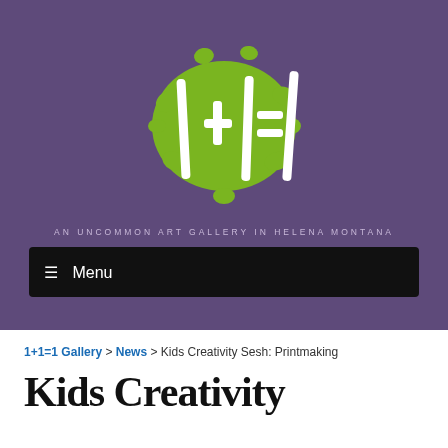[Figure (logo): 1+1=1 Gallery logo: white math symbols (+, =, vertical bars) over a green paint splatter blob, on a purple background]
AN UNCOMMON ART GALLERY IN HELENA MONTANA
☰ Menu
1+1=1 Gallery > News > Kids Creativity Sesh: Printmaking
Kids Creativity